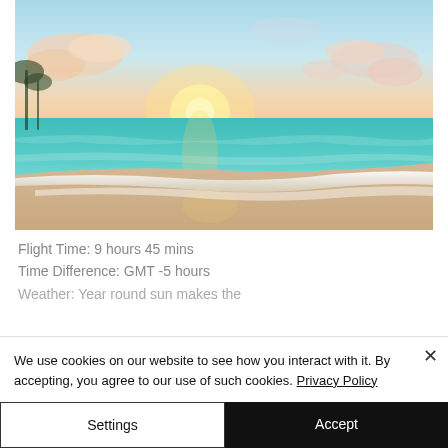[Figure (photo): Tropical beach at sunrise with turquoise water, golden sand, and pastel sky with clouds. Sun low on the horizon.]
Flight Time: 9 hours 45 mins
Time Difference: GMT -5 hours
Weather: Year round sun makes the
We use cookies on our website to see how you interact with it. By accepting, you agree to our use of such cookies. Privacy Policy
Settings
Accept